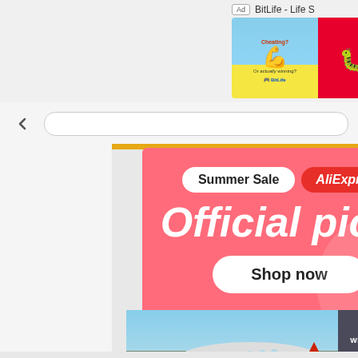[Figure (screenshot): BitLife app advertisement banner showing muscle emoji and BitLife branding on red background with text 'BitLife - Life S']
[Figure (screenshot): Browser UI chrome with back arrow button and address bar]
[Figure (advertisement): AliExpress Summer Sale advertisement. Pink/coral background with text 'Summer Sale AliExpress', 'Official picks', 'Shop now' button, and product images of robot vacuum and gaming device]
[Figure (advertisement): Airline advertisement showing cargo aircraft being loaded, with text 'WITHOUT REGARD TO POLITICS, RELIGION OR ABILITY TO PAY']